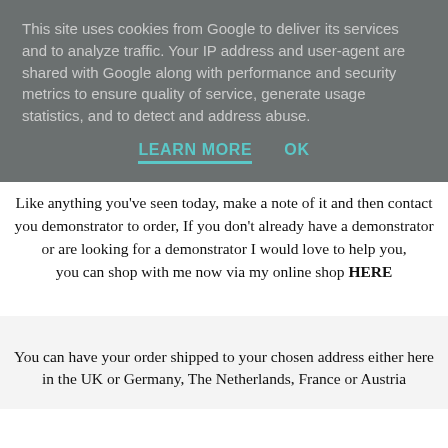This site uses cookies from Google to deliver its services and to analyze traffic. Your IP address and user-agent are shared with Google along with performance and security metrics to ensure quality of service, generate usage statistics, and to detect and address abuse.
LEARN MORE   OK
Like anything you've seen today, make a note of it and then contact you demonstrator to order, If you don't already have a demonstrator or are looking for a demonstrator I would love to help you, you can shop with me now via my online shop HERE
You can have your order shipped to your chosen address either here in the UK or Germany, The Netherlands, France or Austria